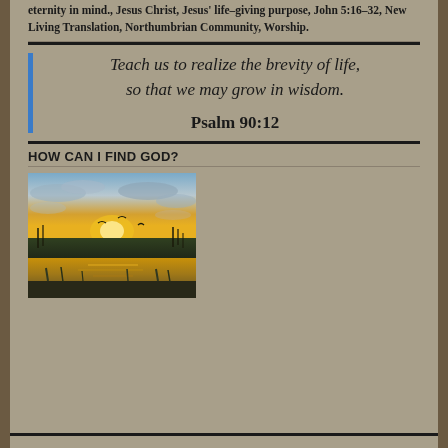eternity in mind., Jesus Christ, Jesus' life-giving purpose, John 5:16-32, New Living Translation, Northumbrian Community, Worship.
Teach us to realize the brevity of life, so that we may grow in wisdom.

Psalm 90:12
HOW CAN I FIND GOD?
[Figure (photo): Sunset over a marsh or wetland with golden light reflecting on water, silhouettes of birds or reeds, dramatic cloudy sky.]